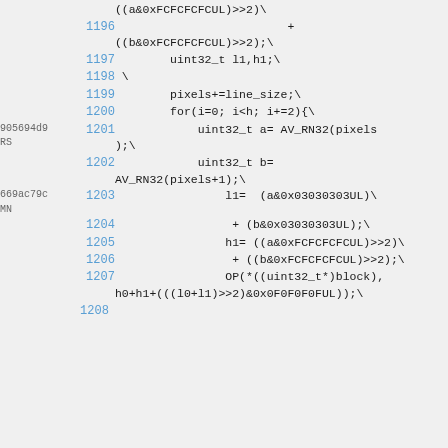((a&0xFCFCFCFCUL)>>2)\
1196    + ((b&0xFCFCFCFCUL)>>2);\
1197        uint32_t l1,h1;\
1198 \
1199        pixels+=line_size;\
1200        for(i=0; i<h; i+=2){\
905694d9 RS 1201            uint32_t a= AV_RN32(pixels);\
1202            uint32_t b= AV_RN32(pixels+1);\
669ac79c MN 1203                l1=  (a&0x03030303UL)\
1204                 + (b&0x03030303UL);\
1205                h1= ((a&0xFCFCFCFCUL)>>2)\
1206                 + ((b&0xFCFCFCFCUL)>>2);\
1207                OP(*((uint32_t*)block), h0+h1+(((l0+l1)>>2)&0x0F0F0F0FUL));\